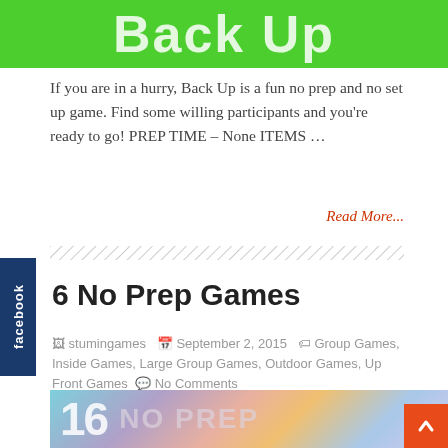[Figure (screenshot): Green banner with white bold text reading 'Back Up' in large decorative font]
If you are in a hurry, Back Up is a fun no prep and no set up game. Find some willing participants and you're ready to go! PREP TIME – None ITEMS …
Read More...
[Figure (other): Diagonal hatch divider line]
16 No Prep Games
stumingames   September 2, 2015   Group Games, Inside Games, Large Group Games, Outdoor Games, Up Front Games   No Comments
[Figure (photo): Colorful abstract background image with large white text '16 NO PREP' partially visible]